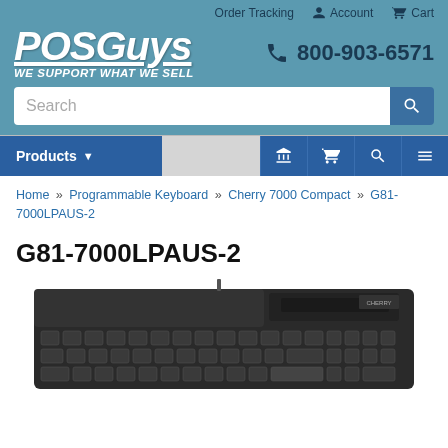POSGuys - WE SUPPORT WHAT WE SELL | Order Tracking | Account | Cart | 800-903-6571
Search
Products
Home » Programmable Keyboard » Cherry 7000 Compact » G81-7000LPAUS-2
G81-7000LPAUS-2
[Figure (photo): Cherry G81-7000LPAUS-2 programmable keyboard with card reader, shown from above on white background]